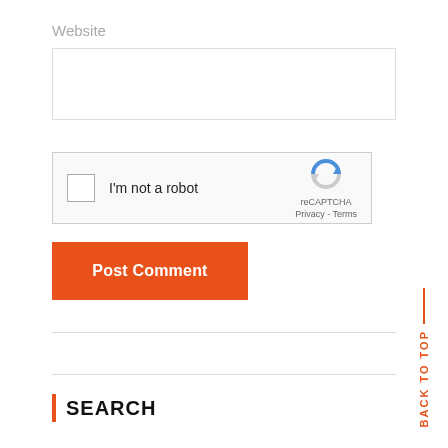Website
[Figure (screenshot): Empty website URL input text field with light gray border]
[Figure (screenshot): reCAPTCHA widget with checkbox, 'I'm not a robot' text, and reCAPTCHA logo with Privacy and Terms links]
Post Comment
BACK TO TOP
SEARCH